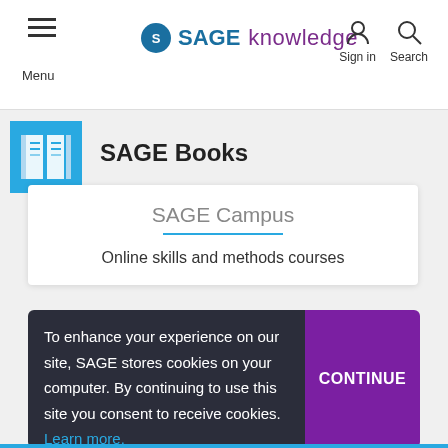Menu | SAGE knowledge | Sign in | Search
SAGE Books
SAGE Campus
Online skills and methods courses
To enhance your experience on our site, SAGE stores cookies on your computer. By continuing to use this site you consent to receive cookies. Learn more.
CONTINUE